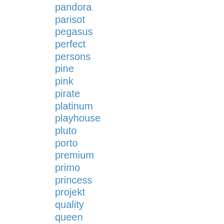pandora
parisot
pegasus
perfect
persons
pine
pink
pirate
platinum
playhouse
pluto
porto
premium
primo
princess
projekt
quality
queen
real
rich
rustic
sale
scallywag